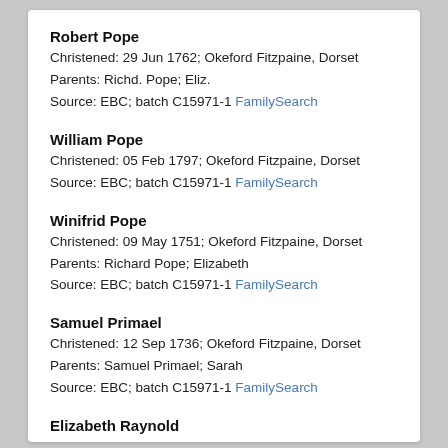Robert Pope
Christened: 29 Jun 1762; Okeford Fitzpaine, Dorset
Parents: Richd. Pope; Eliz.
Source: EBC; batch C15971-1 FamilySearch
William Pope
Christened: 05 Feb 1797; Okeford Fitzpaine, Dorset
Source: EBC; batch C15971-1 FamilySearch
Winifrid Pope
Christened: 09 May 1751; Okeford Fitzpaine, Dorset
Parents: Richard Pope; Elizabeth
Source: EBC; batch C15971-1 FamilySearch
Samuel Primael
Christened: 12 Sep 1736; Okeford Fitzpaine, Dorset
Parents: Samuel Primael; Sarah
Source: EBC; batch C15971-1 FamilySearch
Elizabeth Raynold
Christened: 03 Jun 1775; Okeford Fitzpaine, Dorset